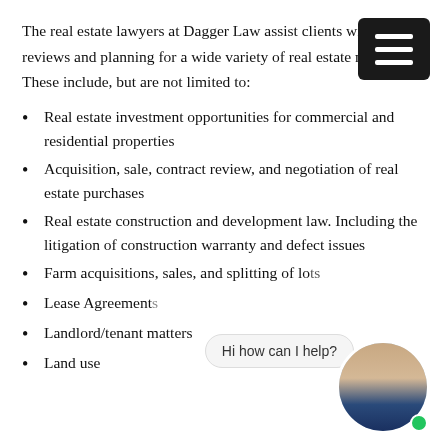The real estate lawyers at Dagger Law assist clients with legal reviews and planning for a wide variety of real estate matters. These include, but are not limited to:
Real estate investment opportunities for commercial and residential properties
Acquisition, sale, contract review, and negotiation of real estate purchases
Real estate construction and development law. Including the litigation of construction warranty and defect issues
Farm acquisitions, sales, and splitting of lots
Lease Agreements
Landlord/tenant matters
Land use